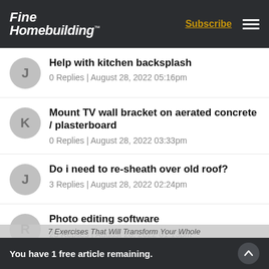Fine Homebuilding | Subscribe
Help with kitchen backsplash
0 Replies | August 28, 2022 05:16pm
Mount TV wall bracket on aerated concrete / plasterboard
0 Replies | August 28, 2022 03:33pm
Do i need to re-sheath over old roof?
3 Replies | August 28, 2022 02:24pm
Photo editing software
25 Replies | August 28, 2022 01:13pm
You have 1 free article remaining.